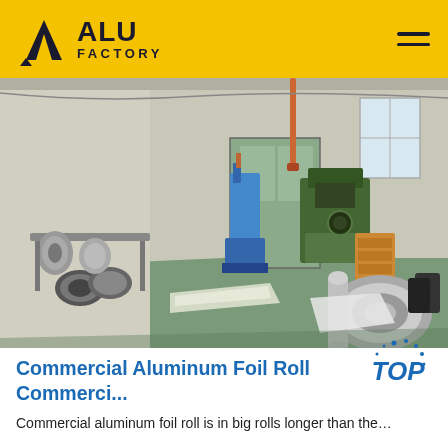ALU FACTORY
[Figure (photo): Interior of an aluminum foil manufacturing factory showing large rolls of aluminum foil, industrial machinery including a blue hydraulic press and green cutting/slitting machine, with warehouse flooring and high ceilings.]
Commercial Aluminum Foil Roll Commerci...
Commercial aluminum foil roll is in big rolls longer than the…